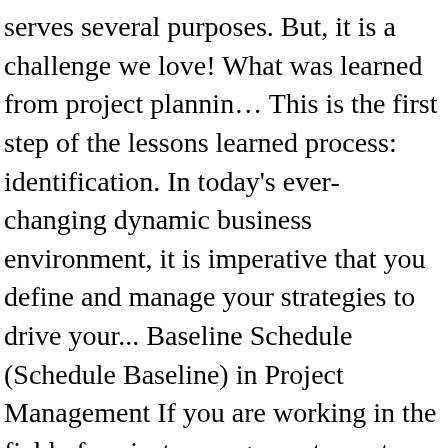serves several purposes. But, it is a challenge we love! What was learned from project plannin… This is the first step of the lessons learned process: identification. In today's ever-changing dynamic business environment, it is imperative that you define and manage your strategies to drive your... Baseline Schedule (Schedule Baseline) in Project Management If you are working in the field of project management, most probably... ProjectCubicle.com provides practical solutions, tutorials, articles and templates to help you